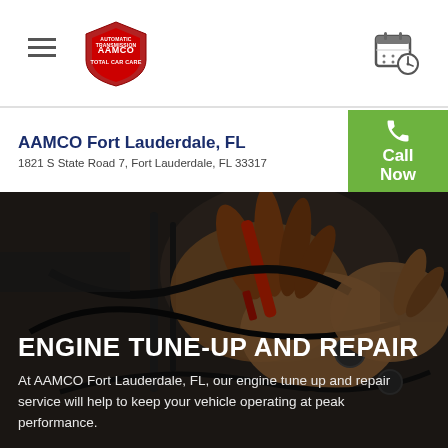AAMCO navigation bar with hamburger menu, AAMCO logo, and calendar/schedule icon
AAMCO Fort Lauderdale, FL
1821 S State Road 7, Fort Lauderdale, FL 33317
Call Now
[Figure (photo): Mechanic hands working on car engine components, close-up photo used as hero background image]
ENGINE TUNE-UP AND REPAIR
At AAMCO Fort Lauderdale, FL, our engine tune up and repair service will help to keep your vehicle operating at peak performance.